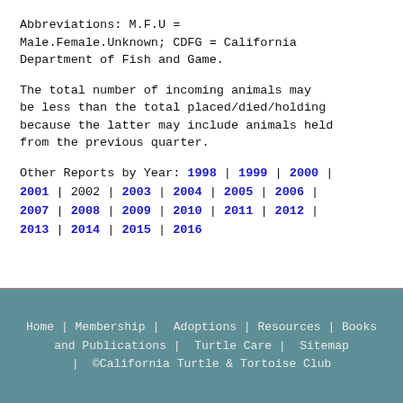Abbreviations: M.F.U = Male.Female.Unknown; CDFG = California Department of Fish and Game.
The total number of incoming animals may be less than the total placed/died/holding because the latter may include animals held from the previous quarter.
Other Reports by Year: 1998 | 1999 | 2000 | 2001 | 2002 | 2003 | 2004 | 2005 | 2006 | 2007 | 2008 | 2009 | 2010 | 2011 | 2012 | 2013 | 2014 | 2015 | 2016
Home | Membership | Adoptions | Resources | Books and Publications | Turtle Care | Sitemap | ©California Turtle & Tortoise Club